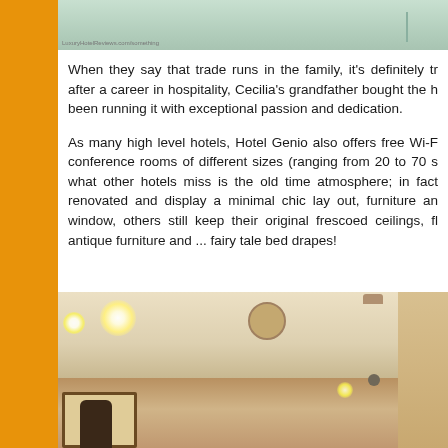[Figure (photo): Top portion of a hotel room photo showing a light-colored ceiling, partially visible]
When they say that trade runs in the family, it's definitely tr... after a career in hospitality, Cecilia's grandfather bought the h... been running it with exceptional passion and dedication.

As many high level hotels, Hotel Genio also offers free Wi-F... conference rooms of different sizes (ranging from 20 to 70 s... what other hotels miss is the old time atmosphere; in fact... renovated and display a minimal chic lay out, furniture an... window, others still keep their original frescoed ceilings, fl... antique furniture and ... fairy tale bed drapes!
[Figure (photo): Interior photo of a hotel room showing ceiling with recessed lighting, a mirror/window frame and a person silhouette at the bottom]